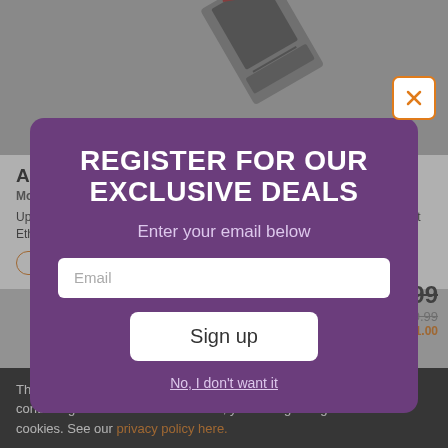[Figure (photo): Partial product image of ASUS network card on gray background]
ASUS - PCIe Network Card Adapte...
Model: XGC100...
Up to 10 Gbps data transfer rates; Quality of Service (QoS); Energy Efficient Ethernet; RJ45 Jack; Supports PCI Express 1.0 or...
VIEW DEALS   PR...
[Figure (screenshot): Email signup modal overlay with purple background. Title: REGISTER FOR OUR EXCLUSIVE DEALS. Subtitle: Enter your email below. Email input field. Sign up button. Decline link: No, I don't want it. Close button top right with orange border and X icon.]
This site uses cookies to enhance your web site experience. By continuing to browse or use this site, you are agreeing to our use of cookies. See our privacy policy here.
$98.99
$99.99
You Save $1.00